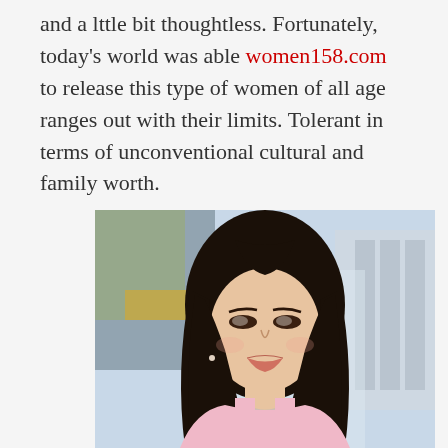and a lttle bit thoughtless. Fortunately, today's world was able women158.com to release this type of women of all age ranges out with their limits. Tolerant in terms of unconventional cultural and family worth.
[Figure (photo): Portrait photo of a young Asian woman with long straight dark hair, wearing a pink sleeveless top and a delicate necklace, photographed outdoors with a blurred architectural background]